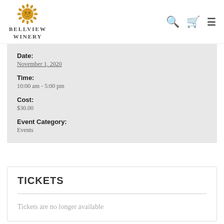[Figure (logo): Bellview Winery logo: golden sun face illustration above text 'BELLVIEW WINERY']
Date:
November 1, 2020
Time:
10:00 am - 5:00 pm
Cost:
$30.00
Event Category:
Events
TICKETS
Tickets are no longer available